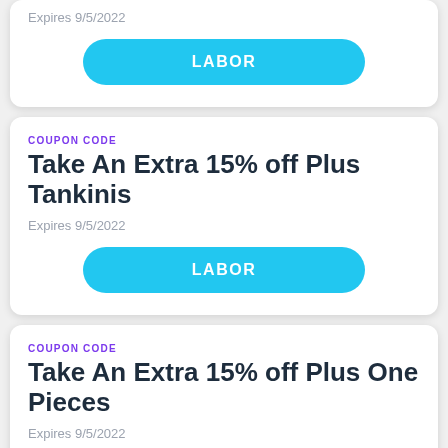Expires 9/5/2022
LABOR
COUPON CODE
Take An Extra 15% off Plus Tankinis
Expires 9/5/2022
LABOR
COUPON CODE
Take An Extra 15% off Plus One Pieces
Expires 9/5/2022
LABOR